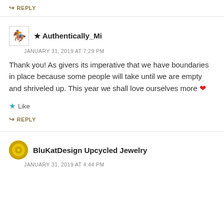↪ REPLY
★ Authentically_Mi
JANUARY 31, 2019 AT 7:29 PM
Thank you! As givers its imperative that we have boundaries in place because some people will take until we are empty and shriveled up. This year we shall love ourselves more ❤
★ Like
↪ REPLY
BluKatDesign Upcycled Jewelry
JANUARY 31, 2019 AT 4:44 PM